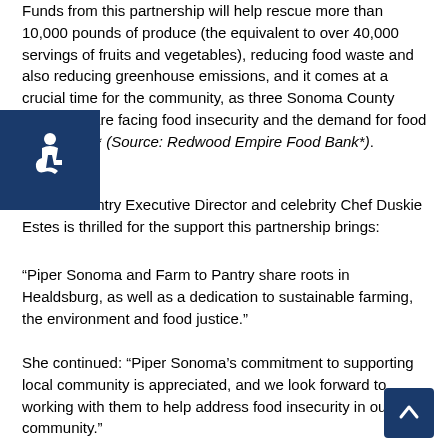Funds from this partnership will help rescue more than 10,000 pounds of produce (the equivalent to over 40,000 servings of fruits and vegetables), reducing food waste and also reducing greenhouse emissions, and it comes at a crucial time for the community, as three Sonoma County neighbors are facing food insecurity and the demand for food is up 235%* (Source: Redwood Empire Food Bank*).
Farm to Pantry Executive Director and celebrity Chef Duskie Estes is thrilled for the support this partnership brings:
“Piper Sonoma and Farm to Pantry share roots in Healdsburg, as well as a dedication to sustainable farming, the environment and food justice.”
She continued: “Piper Sonoma’s commitment to supporting local community is appreciated, and we look forward to working with them to help address food insecurity in our community.”